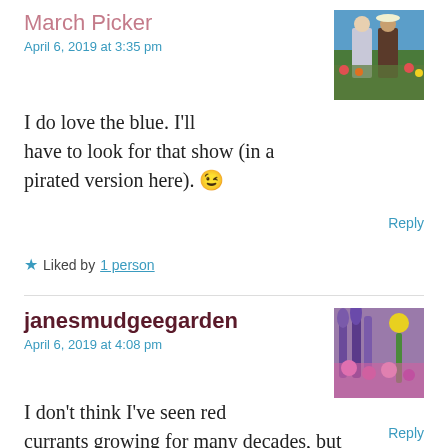March Picker
April 6, 2019 at 3:35 pm
[Figure (photo): Profile photo of two people standing in a field of flowers]
I do love the blue. I'll have to look for that show (in a pirated version here). 😉
Reply
★ Liked by 1 person
janesmudgeegarden
April 6, 2019 at 4:08 pm
[Figure (photo): Profile photo of colorful garden with pink, purple and yellow flowers]
I don't think I've seen red currants growing for many decades, but I still remember their rather distinctive
Reply